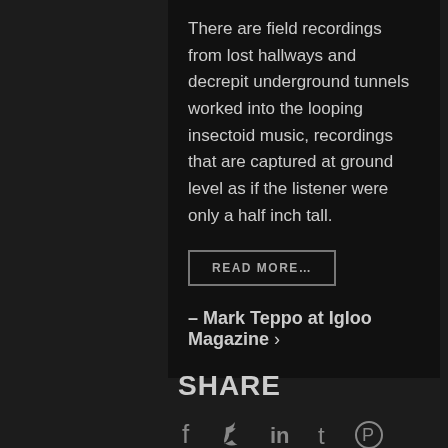There are field recordings from lost hallways and decrepit underground tunnels worked into the looping insectoid music, recordings that are captured at ground level as if the listener were only a half inch tall.
READ MORE...
- Mark Teppo at Igloo Magazine >
SHARE
[Figure (other): Social media share icons: Facebook, Twitter, LinkedIn, Tumblr, Pinterest]